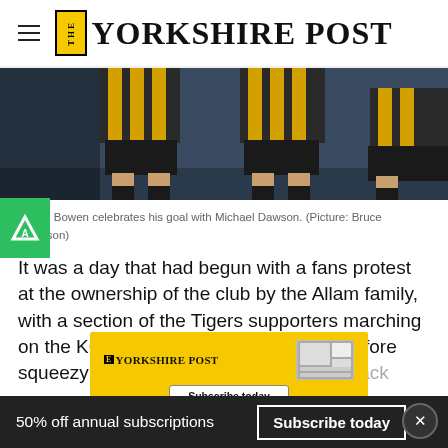THE YORKSHIRE POST
[Figure (photo): Football players legs with black and amber striped Hull City kit]
Jarrod Bowen celebrates his goal with Michael Dawson. (Picture: Bruce Rollinson)
It was a day that had begun with a fans protest at the ownership of the club by the Allam family, with a section of the Tigers supporters marching on the KCOM Stadium prior to kick-off before squeezy balls were thr... 19 minutes and 04 seconds – in
[Figure (infographic): Yorkshire Post subscription banner ad with logo and Subscribe today button]
50% off annual subscriptions   Subscribe today